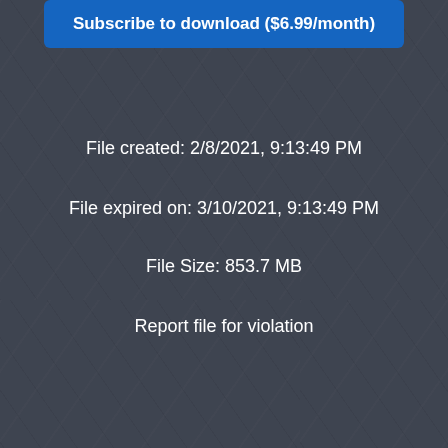[Figure (photo): Blurred dark background image showing scattered papers or documents, overlaid with a dark semi-transparent tint.]
Subscribe to download ($6.99/month)
File created: 2/8/2021, 9:13:49 PM
File expired on: 3/10/2021, 9:13:49 PM
File Size: 853.7 MB
Report file for violation